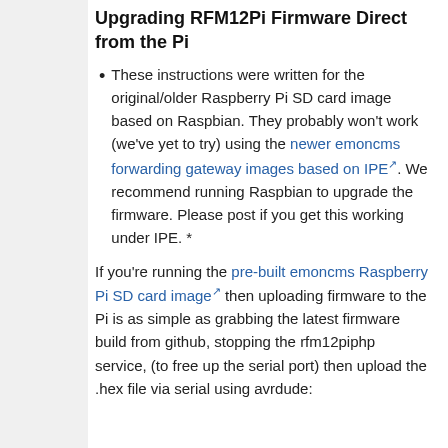Upgrading RFM12Pi Firmware Direct from the Pi
These instructions were written for the original/older Raspberry Pi SD card image based on Raspbian. They probably won't work (we've yet to try) using the newer emoncms forwarding gateway images based on IPE. We recommend running Raspbian to upgrade the firmware. Please post if you get this working under IPE. *
If you're running the pre-built emoncms Raspberry Pi SD card image then uploading firmware to the Pi is as simple as grabbing the latest firmware build from github, stopping the rfm12piphp service, (to free up the serial port) then upload the .hex file via serial using avrdude: